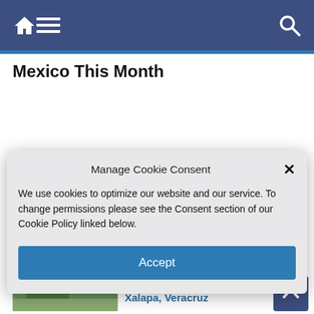Navigation bar with home, menu, and search icons
Mexico This Month
[Figure (screenshot): Partial thumbnail image with blue overlay strip]
[Figure (photo): Photo of person in red and teal clothing - 20 Years Ago section]
20 Years Ago
[Figure (photo): Photo of tree-lined dirt road in Mexico]
Robert Barrett and Richard Nathanson: Englishmen in Xalapa, Veracruz
Manage Cookie Consent
We use cookies to optimize our website and our service. To change permissions please see the Consent section of our Cookie Policy linked below.
Accept